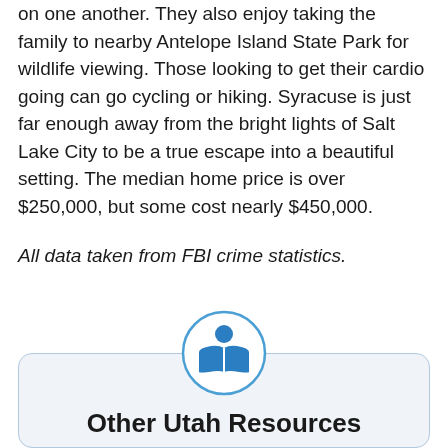on one another. They also enjoy taking the family to nearby Antelope Island State Park for wildlife viewing. Those looking to get their cardio going can go cycling or hiking. Syracuse is just far enough away from the bright lights of Salt Lake City to be a true escape into a beautiful setting. The median home price is over $250,000, but some cost nearly $450,000.
All data taken from FBI crime statistics.
[Figure (illustration): Blue reader/book icon inside a blue circle outline, used as a header icon for the info box]
Other Utah Resources
Building a House in Utah: Everything You